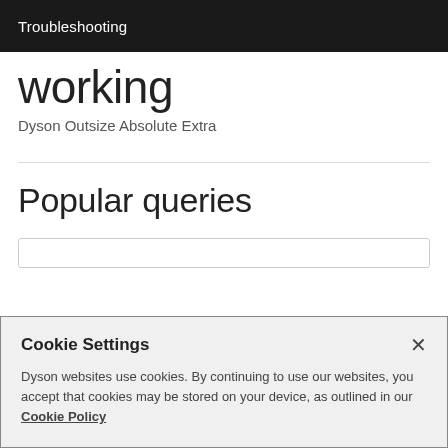Troubleshooting
working
Dyson Outsize Absolute Extra
Popular queries
Cookie Settings
Dyson websites use cookies. By continuing to use our websites, you accept that cookies may be stored on your device, as outlined in our Cookie Policy